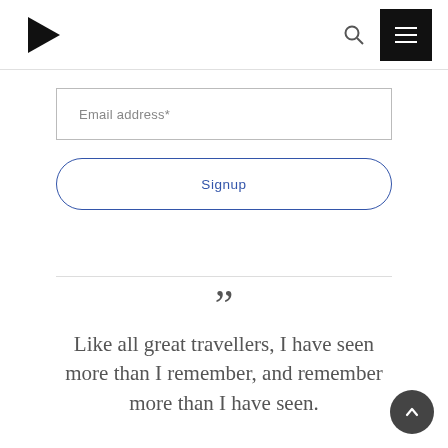Email address*
Signup
” Like all great travellers, I have seen more than I remember, and remember more than I have seen.